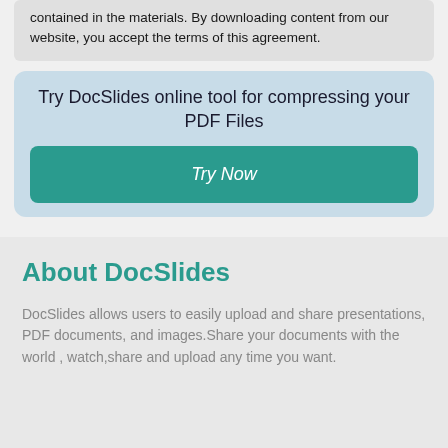contained in the materials. By downloading content from our website, you accept the terms of this agreement.
Try DocSlides online tool for compressing your PDF Files
Try Now
About DocSlides
DocSlides allows users to easily upload and share presentations, PDF documents, and images.Share your documents with the world , watch,share and upload any time you want.